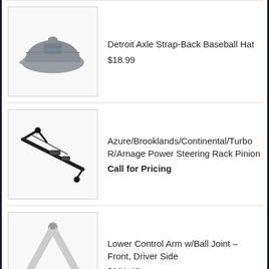[Figure (photo): Gray Detroit Axle strap-back baseball hat with embroidery]
Detroit Axle Strap-Back Baseball Hat
$18.99
[Figure (photo): Black power steering rack pinion component]
Azure/Brooklands/Continental/Turbo R/Arnage Power Steering Rack Pinion
Call for Pricing
[Figure (photo): Silver lower control arm with ball joint]
Lower Control Arm w/Ball Joint - Front, Driver Side
$131.48
Catalog List
Brake Cleaner
Brake Fluid
Complete Brake Kits